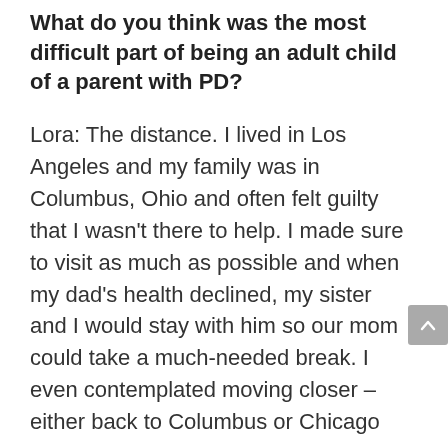What do you think was the most difficult part of being an adult child of a parent with PD?
Lora: The distance. I lived in Los Angeles and my family was in Columbus, Ohio and often felt guilty that I wasn't there to help. I made sure to visit as much as possible and when my dad's health declined, my sister and I would stay with him so our mom could take a much-needed break. I even contemplated moving closer – either back to Columbus or Chicago